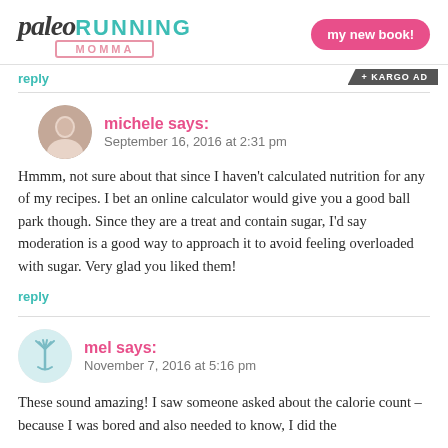paleo RUNNING MOMMA | my new book!
reply
+ KARGO AD
michele says:
September 16, 2016 at 2:31 pm
Hmmm, not sure about that since I haven't calculated nutrition for any of my recipes. I bet an online calculator would give you a good ball park though. Since they are a treat and contain sugar, I'd say moderation is a good way to approach it to avoid feeling overloaded with sugar. Very glad you liked them!
reply
mel says:
November 7, 2016 at 5:16 pm
These sound amazing! I saw someone asked about the calorie count – because I was bored and also needed to know, I did the